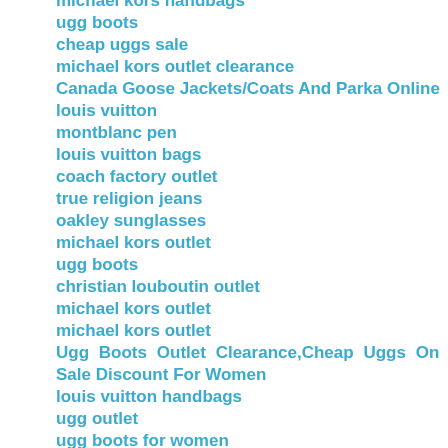michael kors handbags
ugg boots
cheap uggs sale
michael kors outlet clearance
Canada Goose Jackets/Coats And Parka Online
louis vuitton
montblanc pen
louis vuitton bags
coach factory outlet
true religion jeans
oakley sunglasses
michael kors outlet
ugg boots
christian louboutin outlet
michael kors outlet
michael kors outlet
Ugg Boots Outlet Clearance,Cheap Uggs On Sale Discount For Women
louis vuitton handbags
ugg outlet
ugg boots for women
michael kors outlet
louis vuitton outlet